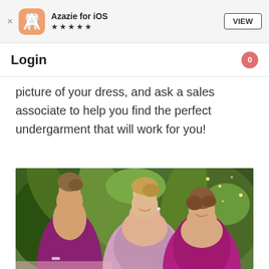Azazie for iOS ★★★★★ VIEW
Login
picture of your dress, and ask a sales associate to help you find the perfect undergarment that will work for you!
[Figure (photo): Two women in formal dresses at an outdoor event with tropical foliage in the background. One woman wears a pink/lavender strapless dress, the other wears a magenta/purple dress.]